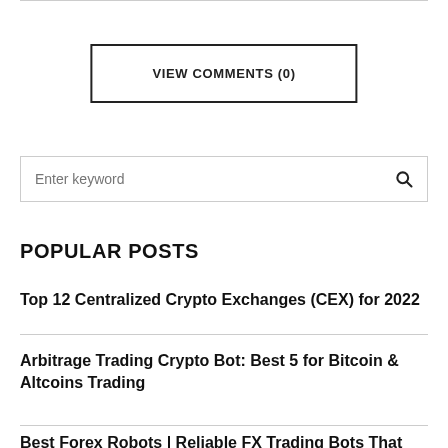VIEW COMMENTS (0)
Enter keyword
POPULAR POSTS
Top 12 Centralized Crypto Exchanges (CEX) for 2022
Arbitrage Trading Crypto Bot: Best 5 for Bitcoin & Altcoins Trading
Best Forex Robots | Reliable FX Trading Bots That Are